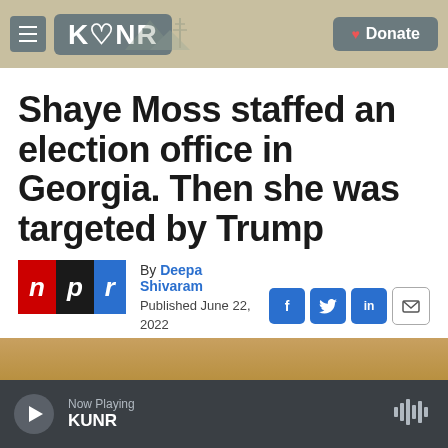KUNR | Donate
Shaye Moss staffed an election office in Georgia. Then she was targeted by Trump
By Deepa Shivaram
Published June 22, 2022 at 2:15 AM PDT
[Figure (photo): Partial image strip at bottom of article area]
Now Playing KUNR